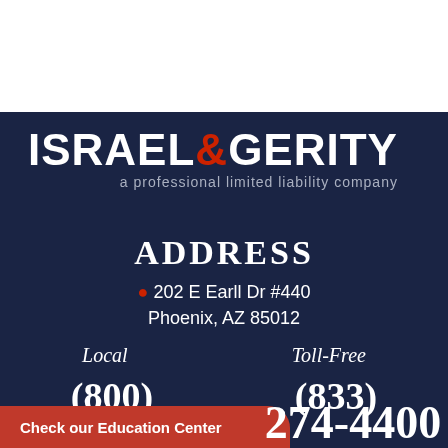[Figure (logo): Israel & Gerity law firm logo with company name in white bold text, ampersand in red, and subtitle 'a professional limited liability company' in gray]
ADDRESS
202 E Earll Dr #440
Phoenix, AZ 85012
Local
Toll-Free
(800)
(833)
Check our Education Center
274-4400